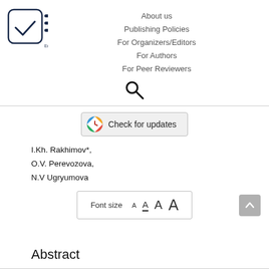[Figure (logo): European Proceedings logo with checkmark in rounded square and EP lines, with text 'European Proceedings']
About us
Publishing Policies
For Organizers/Editors
For Authors
For Peer Reviewers
[Figure (other): Search icon (magnifying glass)]
[Figure (other): Check for updates badge button]
I.Kh. Rakhimov*,
O.V. Perevozova,
N.V Ugryumova
[Figure (other): Font size selector showing A A A A with smallest underlined, inside a bordered box]
Abstract